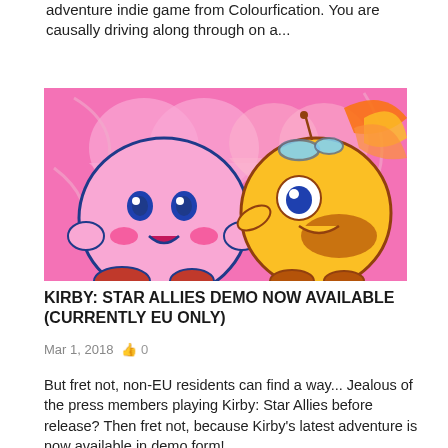adventure indie game from Colourfication. You are causally driving along through on a...
[Figure (illustration): Colorful cartoon image of Kirby (pink round character) on the left and a yellow bee/wasp character on the right, against a pink heart-patterned background. Comic-style art from the Kirby: Star Allies game.]
KIRBY: STAR ALLIES DEMO NOW AVAILABLE (CURRENTLY EU ONLY)
Mar 1, 2018   👍 0
But fret not, non-EU residents can find a way... Jealous of the press members playing Kirby: Star Allies before release? Then fret not, because Kirby's latest adventure is now available in demo form!